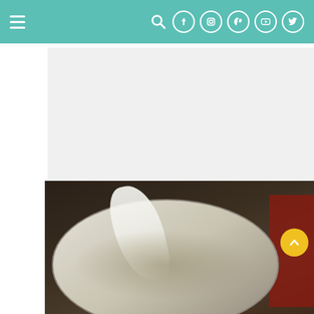Navigation bar with hamburger menu and social icons
[Figure (other): Advertisement placeholder area, light gray background]
You might need to stop the mixer every four minutes to prevent motor burn ou…
[Figure (photo): Photo of a mixing bowl with liquid/dough being poured in, kitchen setting]
Japanese Hokkaido Mi...